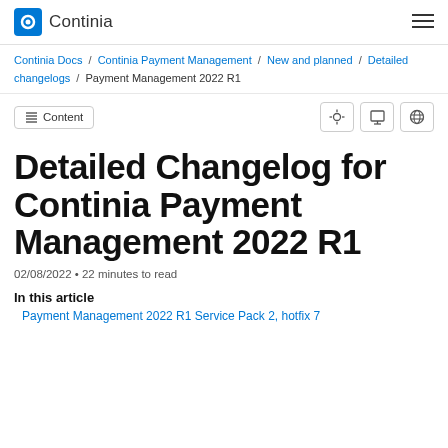Continia
Continia Docs / Continia Payment Management / New and planned / Detailed changelogs / Payment Management 2022 R1
Content [toolbar buttons]
Detailed Changelog for Continia Payment Management 2022 R1
02/08/2022 • 22 minutes to read
In this article
Payment Management 2022 R1 Service Pack 2, hotfix 7